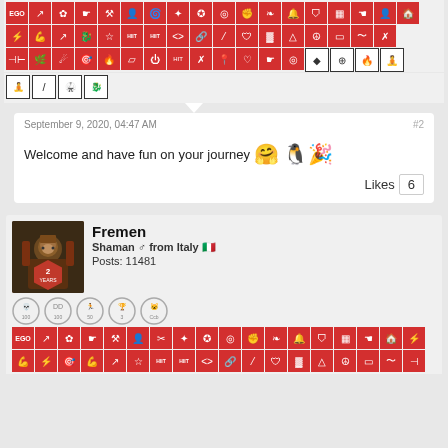[Figure (other): Grid of red fitness/achievement icon badges - top post continuation]
[Figure (other): Row of outline yoga/martial arts icon badges]
September 9, 2020, 04:47 AM
#2
Welcome and have fun on your journey 🤗 🐧
Likes  6
[Figure (other): User avatar for Fremen - armored warrior character with red hexagonal 2 YEARS badge]
Fremen
Shaman ♂ from Italy 🇮🇹
Posts: 11481
[Figure (other): Trophy row for Fremen user]
[Figure (other): Grid of red fitness/achievement icon badges - Fremen post]